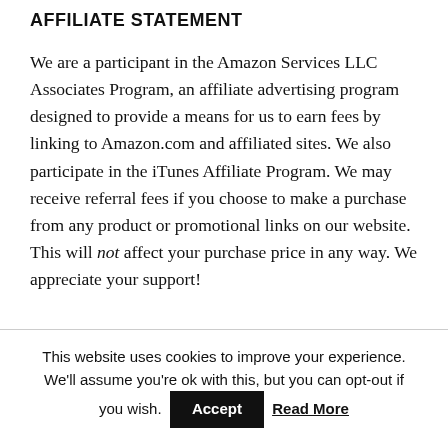AFFILIATE STATEMENT
We are a participant in the Amazon Services LLC Associates Program, an affiliate advertising program designed to provide a means for us to earn fees by linking to Amazon.com and affiliated sites. We also participate in the iTunes Affiliate Program. We may receive referral fees if you choose to make a purchase from any product or promotional links on our website. This will not affect your purchase price in any way. We appreciate your support!
This website uses cookies to improve your experience. We'll assume you're ok with this, but you can opt-out if you wish. Accept Read More